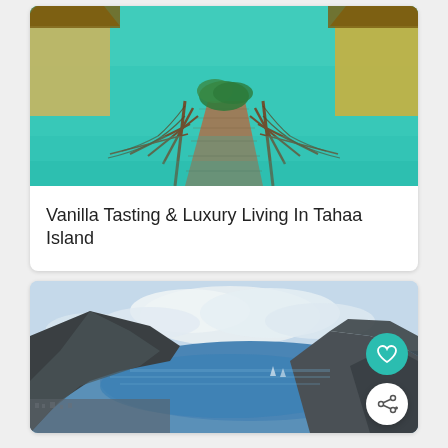[Figure (photo): Overwater bungalow boardwalk over turquoise lagoon water with thatched-roof huts on both sides, perspective view leading to greenery in background]
Vanilla Tasting & Luxury Living In Tahaa Island
[Figure (photo): Aerial view of tropical island with mountains, bay, and town below with blue ocean water, clouds in sky]